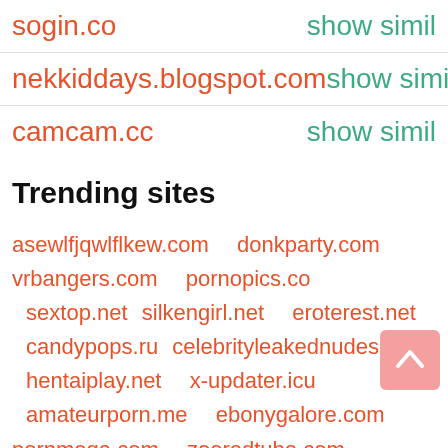sogin.co   show simil
nekkiddays.blogspot.com   show simil
camcam.cc   show simil
Trending sites
asewlfjqwlflkew.com  donkparty.com  vrbangers.com  pornopics.co  sextop.net  silkengirl.net  eroterest.net  candypops.ru  celebrityleakednudes.com  hentaiplay.net  x-updater.icu  amateurporn.me  ebonygalore.com  pornmega.com  zooredtube.com  feretta.net  fabswingers.com  wafflegirl.com  freehqporn.ne  webcam-archiver.com  thefappening.plus  pmates.com  nudeweb.com  adult.game  erokuni.net  sketchysex.com  pornpapa.com